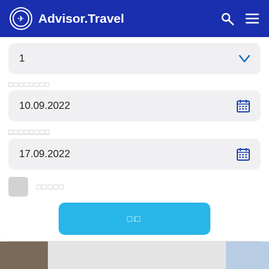Advisor.Travel
1
aaaaaaaa
10.09.2022
aaaaaaaa
17.09.2022
aaaaa
aa
[Figure (screenshot): Bottom image strip with partial photos of travel destinations]